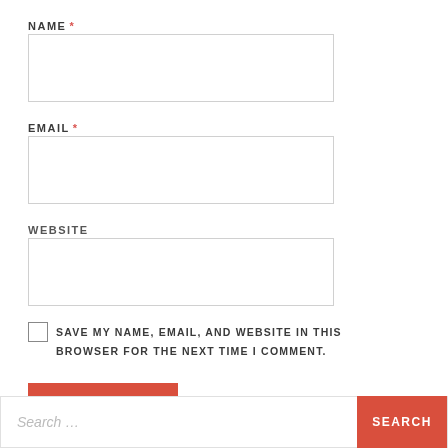NAME *
[Figure (other): Empty text input field for Name]
EMAIL *
[Figure (other): Empty text input field for Email]
WEBSITE
[Figure (other): Empty text input field for Website]
SAVE MY NAME, EMAIL, AND WEBSITE IN THIS BROWSER FOR THE NEXT TIME I COMMENT.
[Figure (other): POST COMMENT button (red)]
[Figure (other): Search bar with Search... placeholder and red SEARCH button]